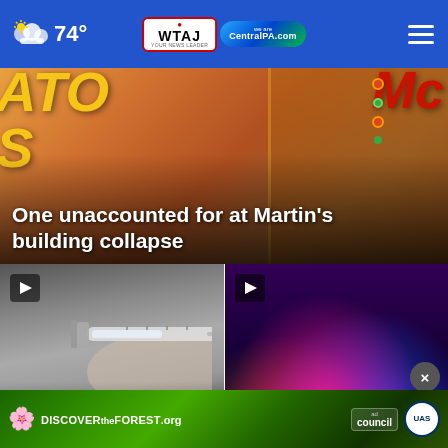74° | WTAJ CentralPA.com
[Figure (screenshot): Hero image of chip/snack packaging — Martin's brand potato chips bag visible with yellow and red text. Headline overlay reads: One unaccounted for at Martin's building collapse]
One unaccounted for at Martin's building collapse
[Figure (screenshot): Video thumbnail — close-up of gloved hand holding syringe/needle. Caption: Flu shots available now at CVS, MARC]
[Figure (screenshot): Video thumbnail — police car emergency lights in blue and red/pink thermal-style colors. Caption partially visible: man drove into]
[Figure (infographic): Ad banner: DISCOVERtheFOREST.org with ad council and US Forest Service logos, colorful forest/flower imagery]